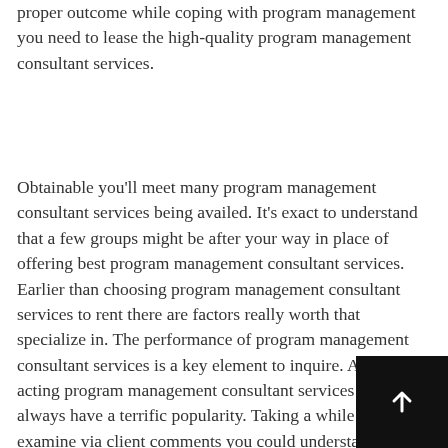proper outcome while coping with program management you need to lease the high-quality program management consultant services.
Obtainable you'll meet many program management consultant services being availed. It's exact to understand that a few groups might be after your way in place of offering best program management consultant services. Earlier than choosing program management consultant services to rent there are factors really worth that specialize in. The performance of program management consultant services is a key element to inquire. A well acting program management consultant services will always have a terrific popularity. Taking a while to examine via client comments you could understand greater about the great of the provider provided. Examine the fee that you'll incur. The price of managing program management varies from one program management consultant services to the alternative. It's es... to carry out a marketplace research on fee to ensure which you